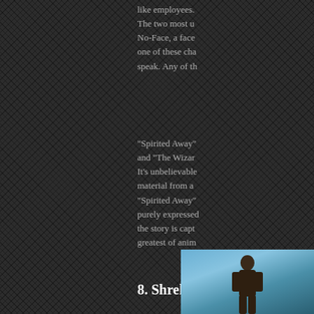like employees. The two most unique are No-Face, a face... one of these cha... speak. Any of th...
"Spirited Away" and "The Wizar... It's unbelievable material from a ... "Spirited Away" purely expressed the story is capt... greatest of anim...
8. Shrek
[Figure (photo): A photo showing a tall figure against a blue sky background, appears to be a scene from Shrek or related content]